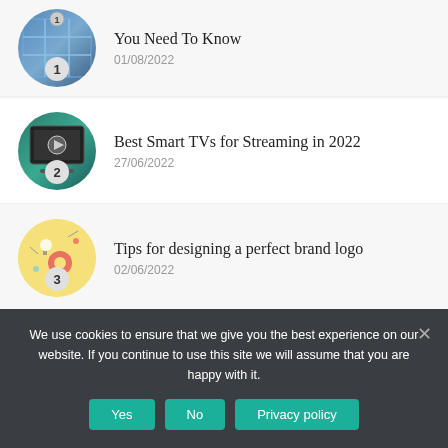You Need To Know
01/08/2022
Best Smart TVs for Streaming in 2022
27/06/2022
Tips for designing a perfect brand logo
02/06/2022
How to Create a Personalized Web Experience?
We use cookies to ensure that we give you the best experience on our website. If you continue to use this site we will assume that you are happy with it.